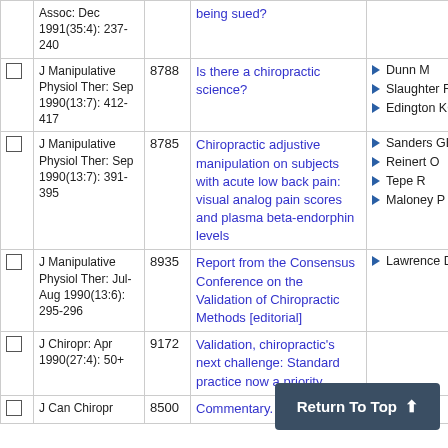|  | Journal | ID | Title | Authors |
| --- | --- | --- | --- | --- |
|  | Assoc: Dec 1991(35:4): 237-240 |  | being sued? |  |
|  | J Manipulative Physiol Ther: Sep 1990(13:7): 412-417 | 8788 | Is there a chiropractic science? | Dunn M; Slaughter RL; Edington KG |
|  | J Manipulative Physiol Ther: Sep 1990(13:7): 391-395 | 8785 | Chiropractic adjustive manipulation on subjects with acute low back pain: visual analog pain scores and plasma beta-endorphin levels | Sanders GE; Reinert O; Tepe R; Maloney P |
|  | J Manipulative Physiol Ther: Jul-Aug 1990(13:6): 295-296 | 8935 | Report from the Consensus Conference on the Validation of Chiropractic Methods [editorial] | Lawrence DJ |
|  | J Chiropr: Apr 1990(27:4): 50+ | 9172 | Validation, chiropractic's next challenge: Standard practice now a priority |  |
|  | J Can Chiropr | 8500 | Commentary. A dichotomy | Vear HJ |
Return To Top